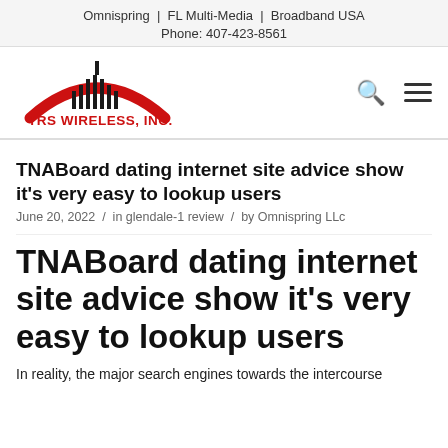Omnispring | FL Multi-Media | Broadband USA
Phone: 407-423-8561
[Figure (logo): TRS Wireless, Inc. logo with red arch and signal tower graphic, red bold text 'TRS WIRELESS, INC.']
TNABoard dating internet site advice show it's very easy to lookup users
June 20, 2022 / in glendale-1 review / by Omnispring LLc
TNABoard dating internet site advice show it's very easy to lookup users
In reality, the major search engines towards the intercourse